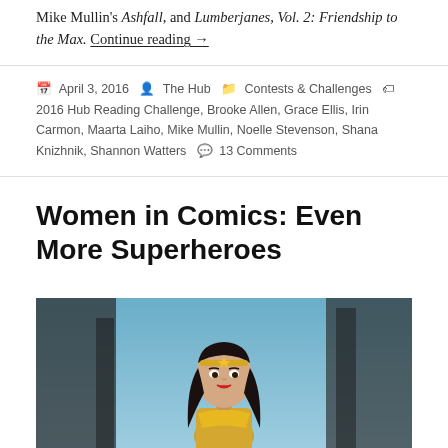Mike Mullin's Ashfall, and Lumberjanes, Vol. 2: Friendship to the Max. Continue reading →
April 3, 2016 · The Hub · Contests & Challenges · Tags: 2016 Hub Reading Challenge, Brooke Allen, Grace Ellis, Irin Carmon, Maarta Laiho, Mike Mullin, Noelle Stevenson, Shana Knizhnik, Shannon Watters · 13 Comments
Women in Comics: Even More Superheroes
[Figure (photo): A Wonder Woman action figure/figurine photographed against a blurred blue sky and dark architectural background. The figure has dark hair with a gold tiara, red lips, and wears a yellow/gold top.]